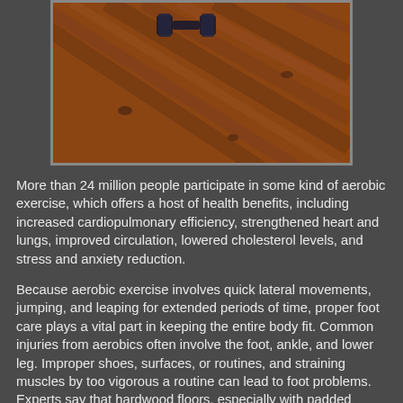[Figure (photo): Photo of dumbbells resting on a hardwood floor with diagonal wood grain planks visible.]
More than 24 million people participate in some kind of aerobic exercise, which offers a host of health benefits, including increased cardiopulmonary efficiency, strengthened heart and lungs, improved circulation, lowered cholesterol levels, and stress and anxiety reduction.
Because aerobic exercise involves quick lateral movements, jumping, and leaping for extended periods of time, proper foot care plays a vital part in keeping the entire body fit. Common injuries from aerobics often involve the foot, ankle, and lower leg. Improper shoes, surfaces, or routines, and straining muscles by too vigorous a routine can lead to foot problems. Experts say that hardwood floors, especially with padded mats, are